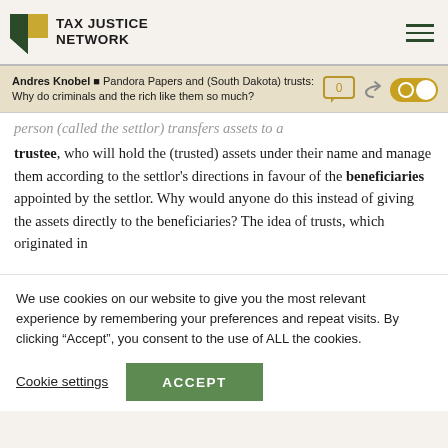TAX JUSTICE NETWORK
Andres Knobel ■ Pandora Papers and (South Dakota) trusts: Why do criminals and the rich like them so much?
person (called the settlor) transfers assets to a trustee, who will hold the (trusted) assets under their name and manage them according to the settlor’s directions in favour of the beneficiaries appointed by the settlor. Why would anyone do this instead of giving the assets directly to the beneficiaries? The idea of trusts, which originated in
We use cookies on our website to give you the most relevant experience by remembering your preferences and repeat visits. By clicking “Accept”, you consent to the use of ALL the cookies.
Cookie settings
ACCEPT